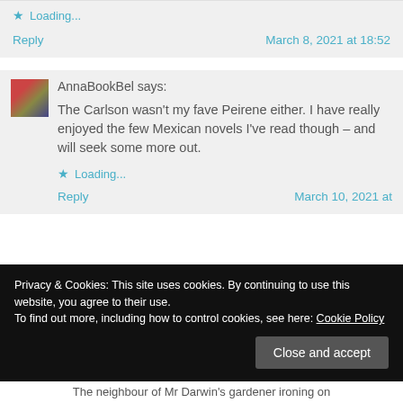Loading...
Reply	March 8, 2021 at 18:52
AnnaBookBel says:
The Carlson wasn't my fave Peirene either. I have really enjoyed the few Mexican novels I've read though – and will seek some more out.
Loading...
Reply	March 10, 2021 at
Privacy & Cookies: This site uses cookies. By continuing to use this website, you agree to their use.
To find out more, including how to control cookies, see here: Cookie Policy
Close and accept
The neighbour of Mr Darwin's gardener ironing on